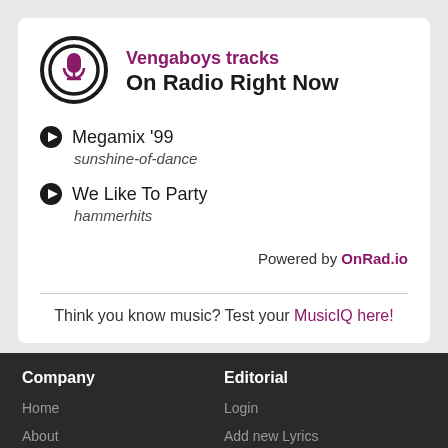Vengaboys tracks On Radio Right Now
Megamix '99 — sunshine-of-dance
We Like To Party — hammerhits
Powered by OnRad.io
Think you know music? Test your MusicIQ here!
Company
Home
About
News
Press
Awards
Testimonials
Editorial
Login
Add new Lyrics
Add a new Album
Become a Member
Meet the Editors
Recently Added